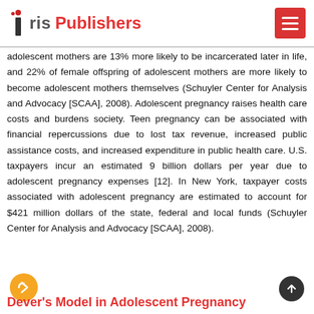Iris Publishers
adolescent mothers are 13% more likely to be incarcerated later in life, and 22% of female offspring of adolescent mothers are more likely to become adolescent mothers themselves (Schuyler Center for Analysis and Advocacy [SCAA], 2008). Adolescent pregnancy raises health care costs and burdens society. Teen pregnancy can be associated with financial repercussions due to lost tax revenue, increased public assistance costs, and increased expenditure in public health care. U.S. taxpayers incur an estimated 9 billion dollars per year due to adolescent pregnancy expenses [12]. In New York, taxpayer costs associated with adolescent pregnancy are estimated to account for $421 million dollars of the state, federal and local funds (Schuyler Center for Analysis and Advocacy [SCAA], 2008).
Dever's Model in Adolescent Pregnancy